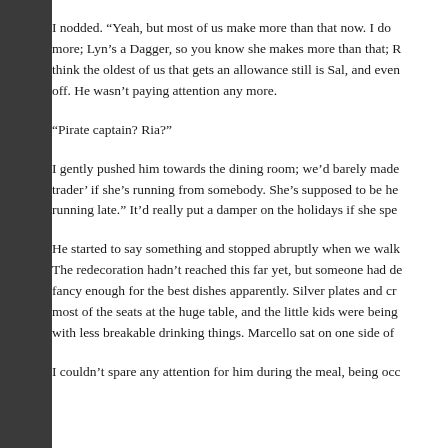I nodded.  “Yeah, but most of us make more than that now.  I don't make more; Lyn’s a Dagger, so you know she makes more than that; R... think the oldest of us that gets an allowance still is Sal, and even... off.  He wasn’t paying attention any more.
“Pirate captain?  Ria?”
I gently pushed him towards the dining room; we’d barely made... trader’ if she’s running from somebody.  She’s supposed to be he... running late.”  It’d really put a damper on the holidays if she spe...
He started to say something and stopped abruptly when we walk... The redecoration hadn’t reached this far yet, but someone had de... fancy enough for the best dishes apparently.  Silver plates and cr... most of the seats at the huge table, and the little kids were being ... with less breakable drinking things.  Marcello sat on one side of ...
I couldn’t spare any attention for him during the meal, being occ...